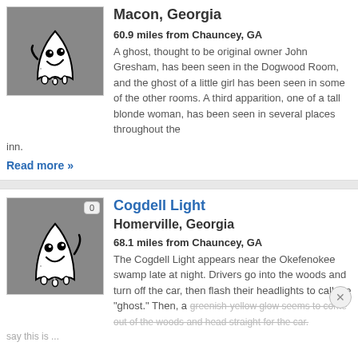[Figure (illustration): Ghost cartoon illustration on grey background for Macon Georgia entry]
Macon, Georgia
60.9 miles from Chauncey, GA
A ghost, thought to be original owner John Gresham, has been seen in the Dogwood Room, and the ghost of a little girl has been seen in some of the other rooms. A third apparition, one of a tall blonde woman, has been seen in several places throughout the inn.
Read more »
[Figure (illustration): Ghost cartoon illustration on grey background for Cogdell Light entry]
Cogdell Light
Homerville, Georgia
68.1 miles from Chauncey, GA
The Cogdell Light appears near the Okefenokee swamp late at night. Drivers go into the woods and turn off the car, then flash their headlights to call the "ghost." Then, a greenish-yellow glow seems to come out of the woods and head straight for the car.
say this is ...